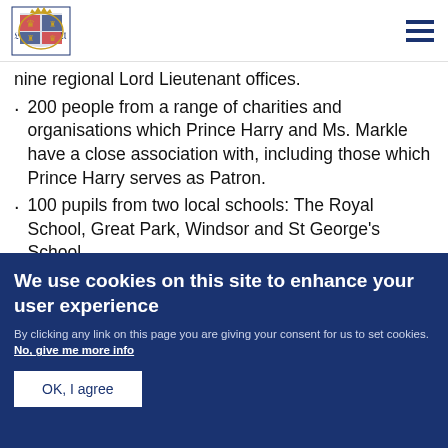[Royal Coat of Arms logo] [Hamburger menu icon]
nine regional Lord Lieutenant offices.
200 people from a range of charities and organisations which Prince Harry and Ms. Markle have a close association with, including those which Prince Harry serves as Patron.
100 pupils from two local schools: The Royal School, Great Park, Windsor and St George's School,
We use cookies on this site to enhance your user experience
By clicking any link on this page you are giving your consent for us to set cookies. No, give me more info
OK, I agree